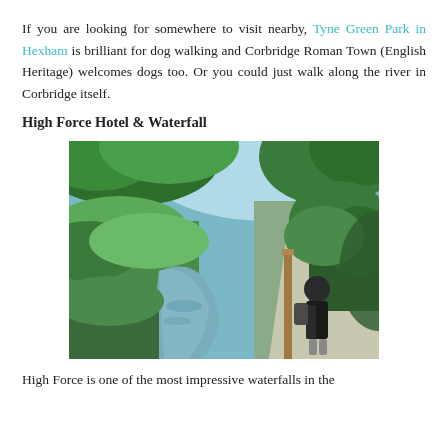If you are looking for somewhere to visit nearby, Tyne Green Park in Hexham is brilliant for dog walking and Corbridge Roman Town (English Heritage) welcomes dogs too. Or you could just walk along the river in Corbridge itself.
High Force Hotel & Waterfall
[Figure (photo): Outdoor nature photo showing a wooded riverside path. A stream or river runs through lush green vegetation on the left. On the right side, a person stands on a paved path next to a wooden post or sign, surrounded by dense green trees and shrubs. Bright blue sky visible through the canopy.]
High Force is one of the most impressive waterfalls in the